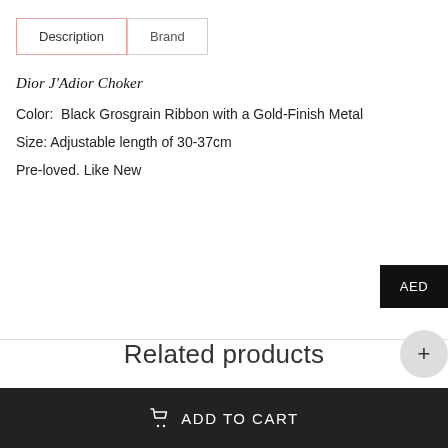Description | Brand (tabs)
Dior J'Adior Choker
Color:  Black Grosgrain Ribbon with a Gold-Finish Metal
Size: Adjustable length of 30-37cm
Pre-loved. Like New
Related products
ADD TO CART